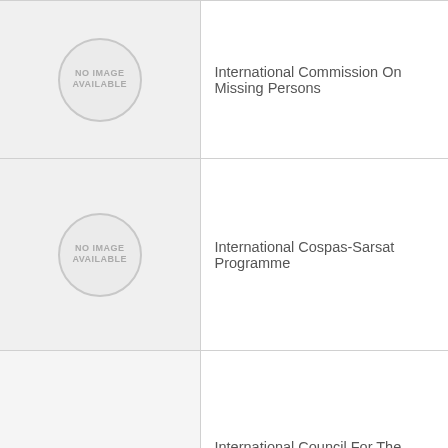| Image | Organization Name |
| --- | --- |
| [NO IMAGE AVAILABLE] | International Commission On Missing Persons |
| [NO IMAGE AVAILABLE] | International Cospas-Sarsat Programme |
|  | International Council For The Exploration Of The Sea |
|  | International Criminal Court |
|  | International Criminal Police Organization |